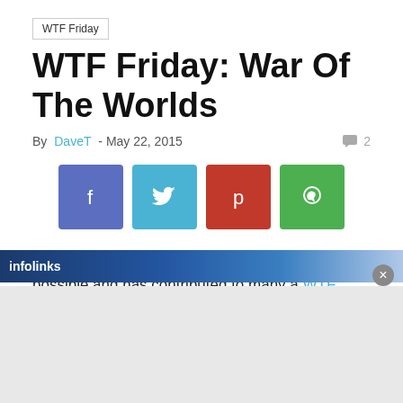WTF Friday
WTF Friday: War Of The Worlds
By DaveT - May 22, 2015   2
[Figure (infographic): Four social share buttons: Facebook (purple-blue), Twitter (light blue), Pinterest (red), WhatsApp (green), each with white icon]
Japan is a land where anything and everything is possible and has contributed to many a WTF Friday post. This week's contribution from the land of the rising sun is a Toyota Chaser